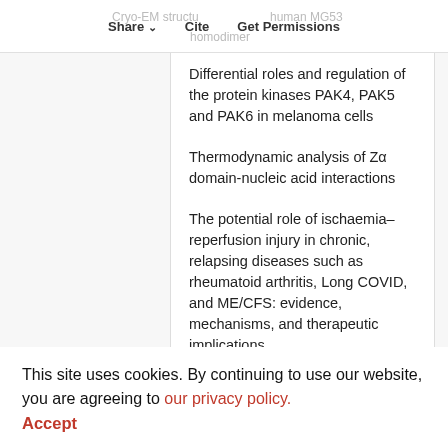Share  Cite  Get Permissions | Cryo-EM structure human MG53 homodimer
Differential roles and regulation of the protein kinases PAK4, PAK5 and PAK6 in melanoma cells
Thermodynamic analysis of Zα domain-nucleic acid interactions
The potential role of ischaemia–reperfusion injury in chronic, relapsing diseases such as rheumatoid arthritis, Long COVID, and ME/CFS: evidence, mechanisms, and therapeutic implications
This site uses cookies. By continuing to use our website, you are agreeing to our privacy policy. Accept